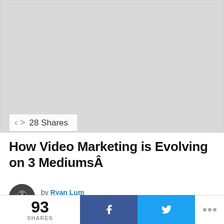[Figure (photo): Hero image placeholder — light gray rectangle representing a featured article image for a video marketing blog post]
28 Shares
How Video Marketing is Evolving on 3 MediumsÂ
by Ryan Lum
6 years ago
93 SHARES